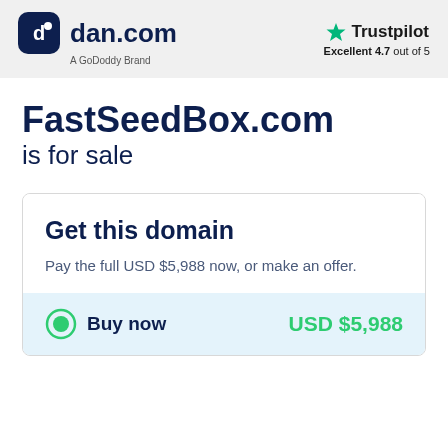dan.com — A GoDoddy Brand | Trustpilot Excellent 4.7 out of 5
FastSeedBox.com is for sale
Get this domain
Pay the full USD $5,988 now, or make an offer.
Buy now — USD $5,988